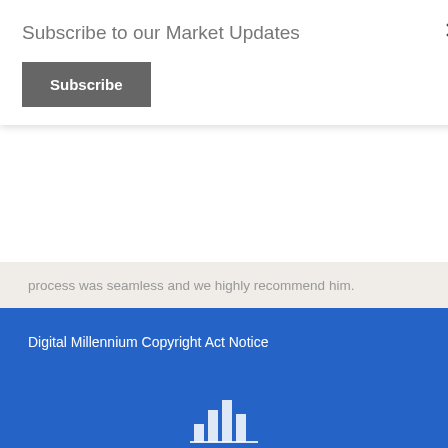Subscribe to our Market Updates
Subscribe
process was seamless and we highly recommend him.
Dana Trujillo & Doug Lombardi – Sold in Redmond – 2011
More client references here...
Digital Millennium Copyright Act Notice
[Figure (bar-chart): Small bar chart icon at bottom of blue footer area]